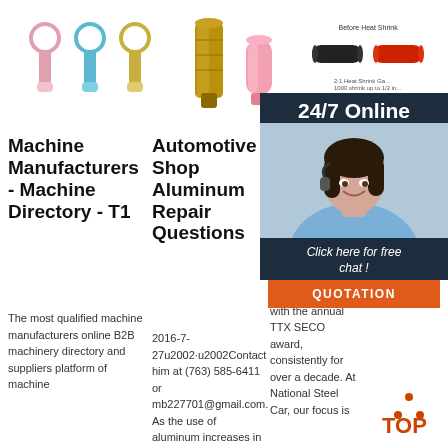[Figure (photo): Three colored ring terminal connectors (pink, blue, yellow) on left; two cylindrical bullet connectors (gold/pink) in center; shrink tubing samples (black and red) with label on right.]
[Figure (photo): 24/7 Online customer support agent (woman with headset smiling) with dark panel overlay, click here for free chat button, and QUOTATION orange button.]
Machine Manufacturers - Machine Directory - T1
The most qualified machine manufacturers online B2B machinery directory and suppliers platform of machine
Automotive Shop Aluminum Repair Questions
2016-7-27u2002·u2002Contact him at (763) 585-6411 or mb227701@gmail.com. As the use of aluminum increases in
Our Rail
Nation is the c compa ISO 90 We ha toured with the annual TTX SECO award, consistently for over a decade. At National Steel Car, our focus is